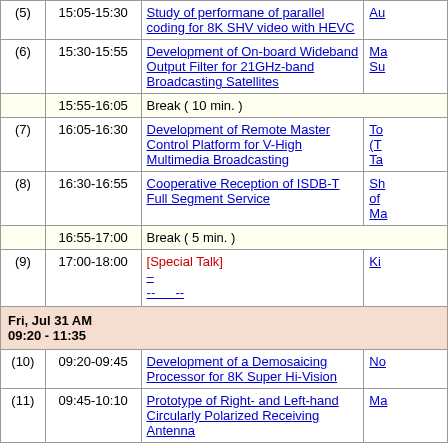| # | Time | Title | Author |
| --- | --- | --- | --- |
| (5) | 15:05-15:30 | Study of performane of parallel coding for 8K SHV video with HEVC | Au... |
| (6) | 15:30-15:55 | Development of On-board Wideband Output Filter for 21GHz-band Broadcasting Satellites | Ma... Su... |
|  | 15:55-16:05 | Break ( 10 min. ) |  |
| (7) | 16:05-16:30 | Development of Remote Master Control Platform for V-High Multimedia Broadcasting | To... (T... Ta... |
| (8) | 16:30-16:55 | Cooperative Reception of ISDB-T Full Segment Service | Sh... of... Ma... |
|  | 16:55-17:00 | Break ( 5 min. ) |  |
| (9) | 17:00-18:00 | [Special Talk] -- -- __  -- | Ki... |
| Fri, Jul 31 AM 09:20 - 11:35 |  |  |  |
| (10) | 09:20-09:45 | Development of a Demosaicing Processor for 8K Super Hi-Vision | No... |
| (11) | 09:45-10:10 | Prototype of Right- and Left-hand Circularly Polarized Receiving Antenna | Ma... |